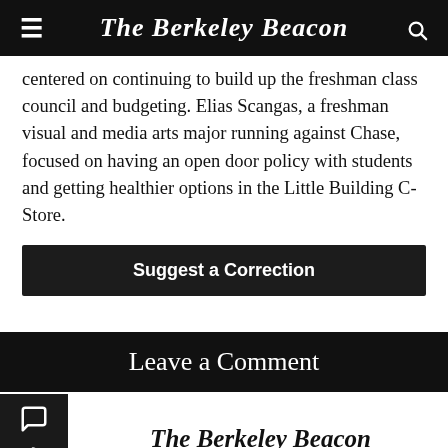The Berkeley Beacon
centered on continuing to build up the freshman class council and budgeting. Elias Scangas, a freshman visual and media arts major running against Chase, focused on having an open door policy with students and getting healthier options in the Little Building C-Store.
Suggest a Correction
Leave a Comment
The Berkeley Beacon